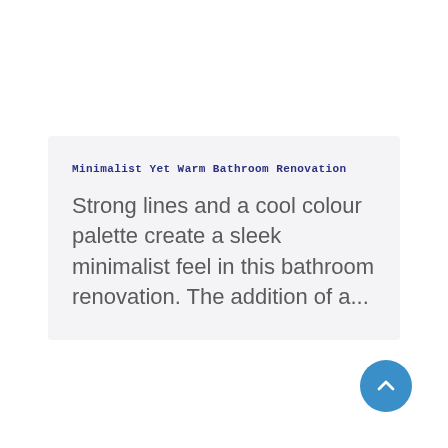Minimalist Yet Warm Bathroom Renovation
Strong lines and a cool colour palette create a sleek minimalist feel in this bathroom renovation. The addition of a...
[Figure (other): A circular blue scroll-to-top button with a white upward chevron arrow.]